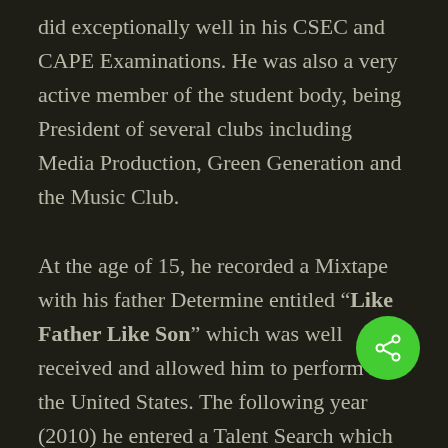did exceptionally well in his CSEC and CAPE Examinations. He was also a very active member of the student body, being President of several clubs including Media Production, Green Generation and the Music Club.

At the age of 15, he recorded a Mixtape with his father Determine entitled "Like Father Like Son" which was well received and allowed him to perform in the United States. The following year (2010) he entered a Talent Search which was organized by RETV, alongside his guitarist Scot Leslie who is now the lead guitarist in his band, (Runkus & the Old Skl Band). Being the only contestant with a difference, that is, an acoustic style to his set, he astounded the judges and won the competition, which gave him the opportunity to be on the RETV School